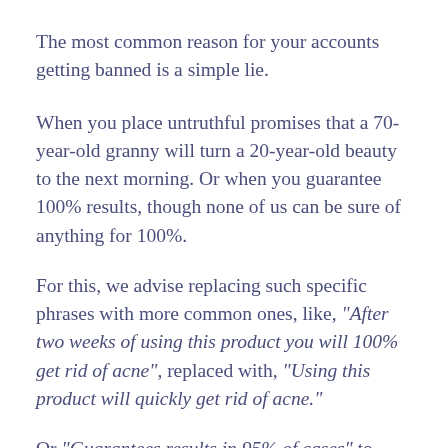The most common reason for your accounts getting banned is a simple lie.
When you place untruthful promises that a 70-year-old granny will turn a 20-year-old beauty to the next morning. Or when you guarantee 100% results, though none of us can be sure of anything for 100%.
For this, we advise replacing such specific phrases with more common ones, like, “After two weeks of using this product you will 100% get rid of acne”, replaced with, “Using this product will quickly get rid of acne.”
Or “Guarantees results in 95% of cases” to “Wonderful